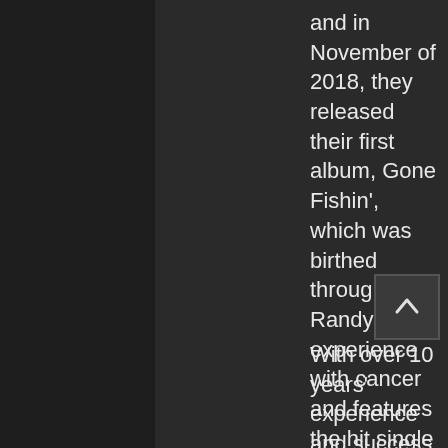and in November of 2018, they released their first album, Gone Fishin', which was birthed through Randy's experience with cancer and features the hit single 'For My Good'. In December of 2018, Randy representedJudah Band as he was featured in BET's 2018 Yearbook spread. In 2019, the video for their hit single, 'I Believe' was debuted on BET Gospel. Nominated for several prestige's awards, including three Stellar awards, Randy and Judah Band continue to soar, with one mission...God's glory.
With over 10 years' experience and success in the music industry, Weston's greatest feat is being amongst the people and showing the love of Christ.